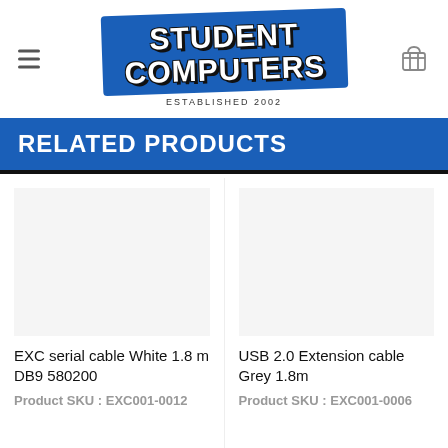[Figure (logo): Student Computers logo with blue badge and 'ESTABLISHED 2002' text]
RELATED PRODUCTS
EXC serial cable White 1.8 m DB9 580200
Product SKU : EXC001-0012
USB 2.0 Extension cable Grey 1.8m
Product SKU : EXC001-0006